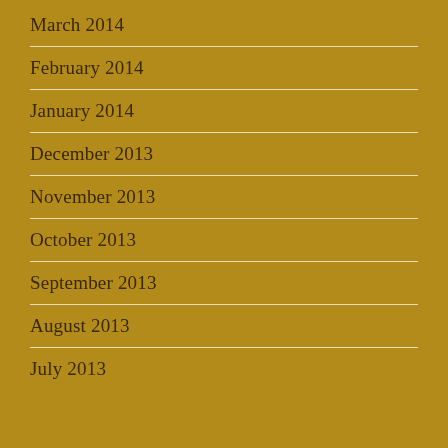March 2014
February 2014
January 2014
December 2013
November 2013
October 2013
September 2013
August 2013
July 2013